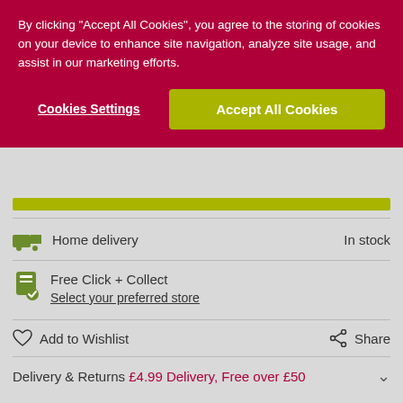By clicking "Accept All Cookies", you agree to the storing of cookies on your device to enhance site navigation, analyze site usage, and assist in our marketing efforts.
Cookies Settings
Accept All Cookies
Home delivery    In stock
Free Click + Collect
Select your preferred store
Add to Wishlist
Share
Delivery & Returns  £4.99 Delivery, Free over £50
Sign up to our Newsletter and get 10% Off your next